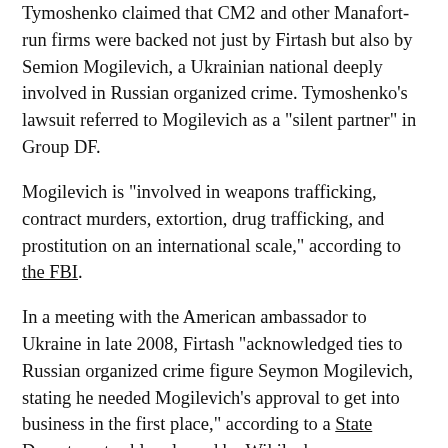Tymoshenko claimed that CM2 and other Manafort-run firms were backed not just by Firtash but also by Semion Mogilevich, a Ukrainian national deeply involved in Russian organized crime. Tymoshenko's lawsuit referred to Mogilevich as a "silent partner" in Group DF.
Mogilevich is "involved in weapons trafficking, contract murders, extortion, drug trafficking, and prostitution on an international scale," according to the FBI.
In a meeting with the American ambassador to Ukraine in late 2008, Firtash "acknowledged ties to Russian organized crime figure Seymon Mogilevich, stating he needed Mogilevich's approval to get into business in the first place," according to a State Department cable released by Wikileaks.
"Firtash acknowledged that he needed, and received, permission from Mogilievich when he established various businesses, but he denied any close relationship to him," according to the cable.
Firtash is currently wanted by the FBI, which has sought to extradite